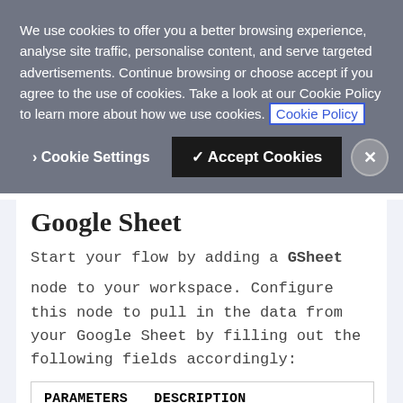We use cookies to offer you a better browsing experience, analyse site traffic, personalise content, and serve targeted advertisements. Continue browsing or choose accept if you agree to the use of cookies. Take a look at our Cookie Policy to learn more about how we use cookies. Cookie Policy
> Cookie Settings   ✓ Accept Cookies   ✕
Google Sheet
Start your flow by adding a GSheet node to your workspace. Configure this node to pull in the data from your Google Sheet by filling out the following fields accordingly:
| PARAMETERS | DESCRIPTION |
| --- | --- |
| Creds | Press the edit button to pr... earlier? Copy and paste thi... |